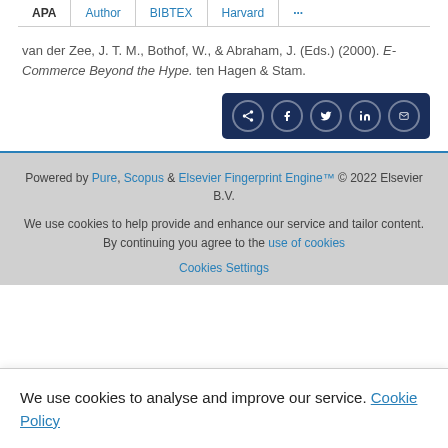APA | Author | BIBTEX | Harvard | ...
van der Zee, J. T. M., Bothof, W., & Abraham, J. (Eds.) (2000). E-Commerce Beyond the Hype. ten Hagen & Stam.
[Figure (infographic): Social share bar with icons for share, Facebook, Twitter, LinkedIn, and email on dark navy background]
Powered by Pure, Scopus & Elsevier Fingerprint Engine™ © 2022 Elsevier B.V.
We use cookies to help provide and enhance our service and tailor content. By continuing you agree to the use of cookies
Cookies Settings
We use cookies to analyse and improve our service. Cookie Policy